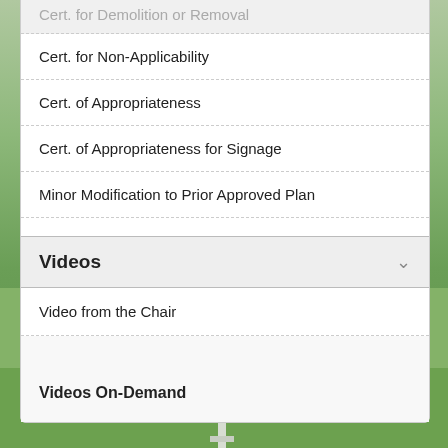Cert. for Demolition or Removal
Cert. for Non-Applicability
Cert. of Appropriateness
Cert. of Appropriateness for Signage
Minor Modification to Prior Approved Plan
Videos
Video from the Chair
Videos On-Demand
[Figure (photo): Outdoor park scene with green lawn, trees, and a white post/sign in the foreground]